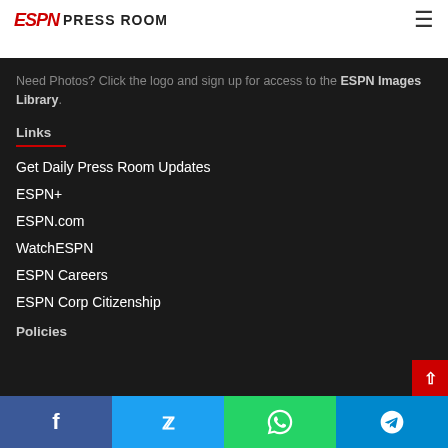ESPN Press Room
Need Photos? Click the logo and sign up for access to the ESPN Images Library.
Links
Get Daily Press Room Updates
ESPN+
ESPN.com
WatchESPN
ESPN Careers
ESPN Corp Citizenship
Policies